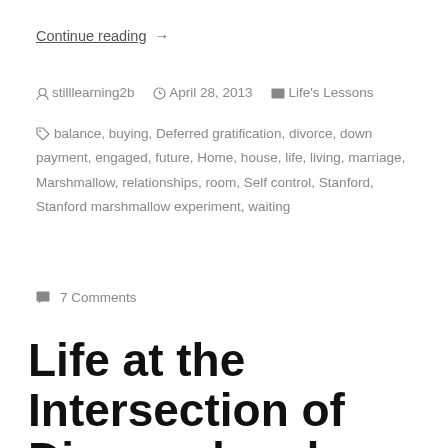Continue reading →
by stilllearning2b   April 28, 2013   Life's Lessons
balance, buying, Deferred gratification, divorce, down payment, engaged, future, Home, house, life, living, marriage, Marshmallow, relationships, room, Self control, Stanford, Stanford marshmallow experiment, waiting
7 Comments
Life at the Intersection of Divorced and Engaged